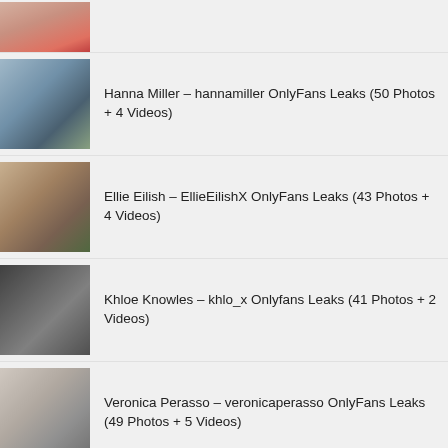[Figure (photo): Partial thumbnail of a person, cropped at top]
Hanna Miller – hannamiller OnlyFans Leaks (50 Photos + 4 Videos)
Ellie Eilish – EllieEilishX OnlyFans Leaks (43 Photos + 4 Videos)
Khloe Knowles – khlo_x Onlyfans Leaks (41 Photos + 2 Videos)
Veronica Perasso – veronicaperasso OnlyFans Leaks (49 Photos + 5 Videos)